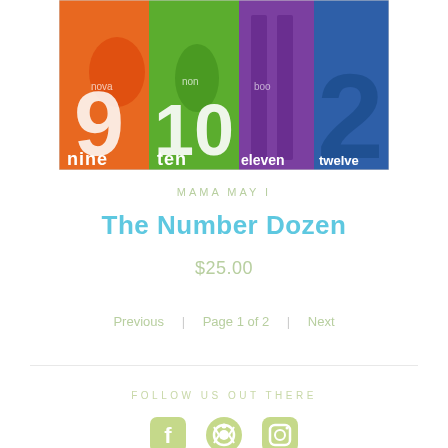[Figure (illustration): Colorful book cover showing numbers nine through twelve with bold typography in orange, green, purple, and blue colors]
MAMA MAY I
The Number Dozen
$25.00
Previous  |  Page 1 of 2  |  Next
FOLLOW US OUT THERE
[Figure (illustration): Social media icons for Facebook, Pinterest, and Instagram in light green color]